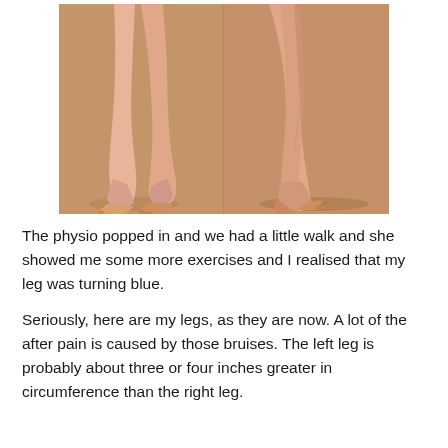[Figure (photo): Two side-by-side photos of a person's lower legs and feet standing on a tan/brown surface. Left panel shows a front-side view of both legs with visible swelling/bruising. Right panel shows a side profile view of the same legs.]
The physio popped in and we had a little walk and she showed me some more exercises and I realised that my leg was turning blue.
Seriously, here are my legs, as they are now. A lot of the after pain is caused by those bruises. The left leg is probably about three or four inches greater in circumference than the right leg.